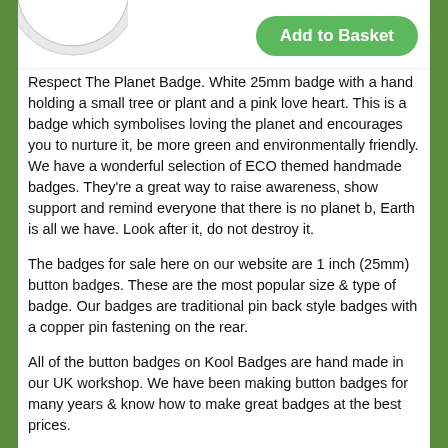[Figure (photo): Partial view of a circular white badge at top left corner]
[Figure (other): Green 'Add to Basket' button]
Respect The Planet Badge. White 25mm badge with a hand holding a small tree or plant and a pink love heart. This is a badge which symbolises loving the planet and encourages you to nurture it, be more green and environmentally friendly. We have a wonderful selection of ECO themed handmade badges. They're a great way to raise awareness, show support and remind everyone that there is no planet b, Earth is all we have. Look after it, do not destroy it.
The badges for sale here on our website are 1 inch (25mm) button badges. These are the most popular size & type of badge. Our badges are traditional pin back style badges with a copper pin fastening on the rear.
All of the button badges on Kool Badges are hand made in our UK workshop. We have been making button badges for many years & know how to make great badges at the best prices.
If you don't see the badge design you're looking for you can Upload Your Own Custom Badges to create a unique, personalised & cheap badge! See our Design Your Own Badge page for details.
Please note: A lot of the badges available on Koolbadges are